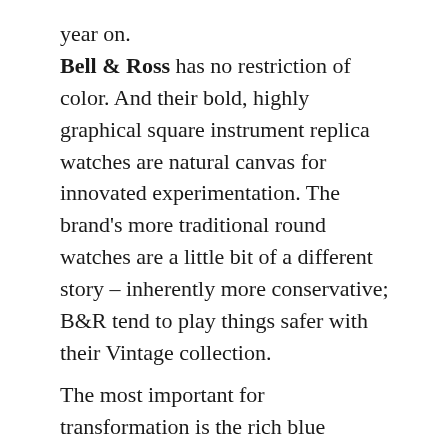year on. Bell & Ross has no restriction of color. And their bold, highly graphical square instrument replica watches are natural canvas for innovated experimentation. The brand's more traditional round watches are a little bit of a different story – inherently more conservative; B&R tend to play things safer with their Vintage collection.
The most important for transformation is the rich blue starburst dial, with radial brushing. The twin subdial contrast nicely, owing to the perfect circular engraving.
Thanks to this ever-changing finish the watch already dances and plays in different lights, but while you add gold toned hands and applied